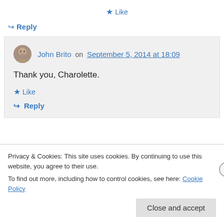★ Like
↪ Reply
John Brito on September 5, 2014 at 18:09
Thank you, Charolette.
★ Like
↪ Reply
Privacy & Cookies: This site uses cookies. By continuing to use this website, you agree to their use.
To find out more, including how to control cookies, see here: Cookie Policy
Close and accept